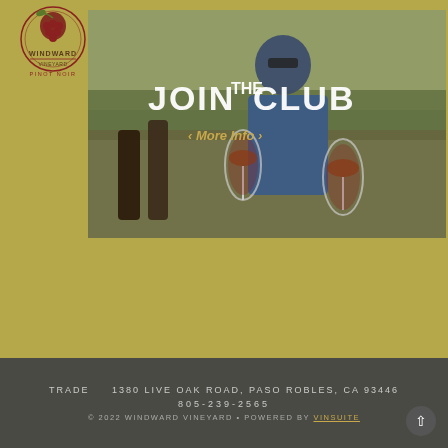[Figure (logo): Windward Vineyard logo with grape cluster illustration and 'PINOT NOIR' text]
[Figure (photo): Photo of a man in sunglasses and blue shirt holding two glasses of red wine outdoors at a vineyard, with wine bottles visible. Overlaid text reads 'JOIN THE CLUB' and 'More Info ›']
TRADE    1380 LIVE OAK ROAD, PASO ROBLES, CA 93446
805-239-2565
© 2022 WINDWARD VINEYARD • POWERED BY vinSUITE